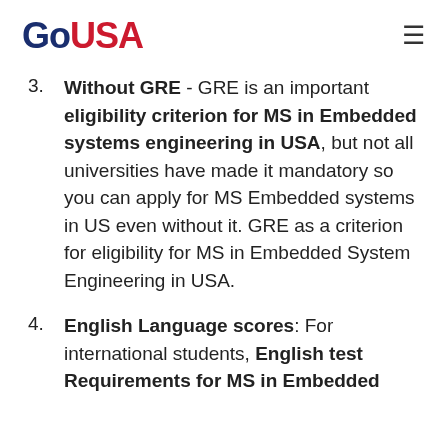GoUSA
Without GRE - GRE is an important eligibility criterion for MS in Embedded systems engineering in USA, but not all universities have made it mandatory so you can apply for MS Embedded systems in US even without it. GRE as a criterion for eligibility for MS in Embedded System Engineering in USA.
English Language scores: For international students, English test Requirements for MS in Embedded